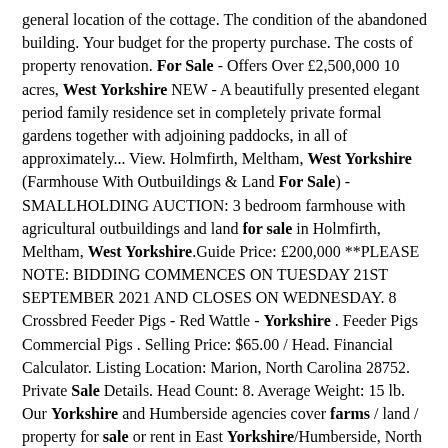general location of the cottage. The condition of the abandoned building. Your budget for the property purchase. The costs of property renovation. For Sale - Offers Over £2,500,000 10 acres, West Yorkshire NEW - A beautifully presented elegant period family residence set in completely private formal gardens together with adjoining paddocks, in all of approximately... View. Holmfirth, Meltham, West Yorkshire (Farmhouse With Outbuildings & Land For Sale) - SMALLHOLDING AUCTION: 3 bedroom farmhouse with agricultural outbuildings and land for sale in Holmfirth, Meltham, West Yorkshire.Guide Price: £200,000 **PLEASE NOTE: BIDDING COMMENCES ON TUESDAY 21ST SEPTEMBER 2021 AND CLOSES ON WEDNESDAY. 8 Crossbred Feeder Pigs - Red Wattle - Yorkshire . Feeder Pigs Commercial Pigs . Selling Price: $65.00 / Head. Financial Calculator. Listing Location: Marion, North Carolina 28752. Private Sale Details. Head Count: 8. Average Weight: 15 lb. Our Yorkshire and Humberside agencies cover farms / land / property for sale or rent in East Yorkshire/Humberside, North Yorkshire, South Yorkshire, West Yorkshire. Find land for sale, country and equestrian properties to buy Yorkshire and Humberside: 30 properties in East Yorkshire. 72 properties in North Yorkshire. eminently suitable for those with equestrian interests. The property is located on the northern fringe of Wike, close to Wike and Moor Allerton golf courses, almost midway between the village of East Keswick and the North Leeds suburb